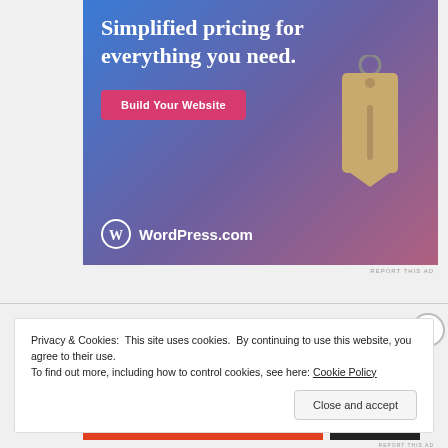[Figure (illustration): WordPress.com advertisement banner with gradient blue-purple-pink background. Shows text 'Simplified pricing for everything you need.' with a pink 'Build Your Website' button, a hanging price tag illustration, and WordPress.com logo at the bottom.]
REPORT THIS AD
Privacy & Cookies: This site uses cookies. By continuing to use this website, you agree to their use.
To find out more, including how to control cookies, see here: Cookie Policy
Close and accept